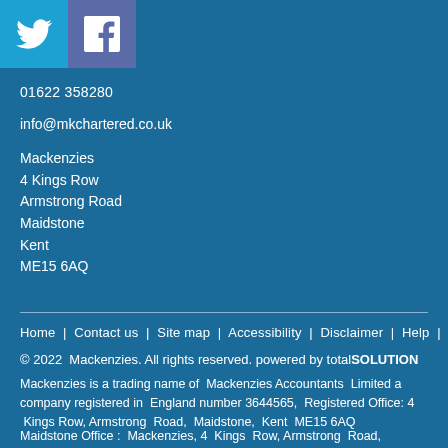[Figure (logo): Twitter bird icon on light blue background and Facebook 'f' icon on purple-blue background]
01622 358280
info@mkchartered.co.uk
Mackenzies
4 Kings Row
Armstrong Road
Maidstone
Kent
ME15 6AQ
Home | Contact us | Site map | Accessibility | Disclaimer | Help |
© 2022 Mackenzies. All rights reserved. powered by totalSOLUTION
Mackenzies is a trading name of Mackenzies Accountants Limited a company registered in England number 3644565, Registered Office: 4 Kings Row, Armstrong Road, Maidstone, Kent ME15 6AQ
Maidstone Office : Mackenzies, 4 Kings Row, Armstrong Road, Maidstone, Kent ME15 6AQ